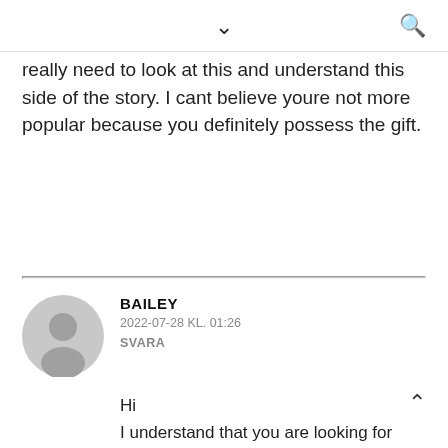▼  🔍
really need to look at this and understand this side of the story. I cant believe youre not more popular because you definitely possess the gift.
BAILEY
2022-07-28 KL. 01:26
SVARA
Hi
I understand that you are looking for ways to improve your posture and contribute to a healthy lifestyle. I think our product, Medico